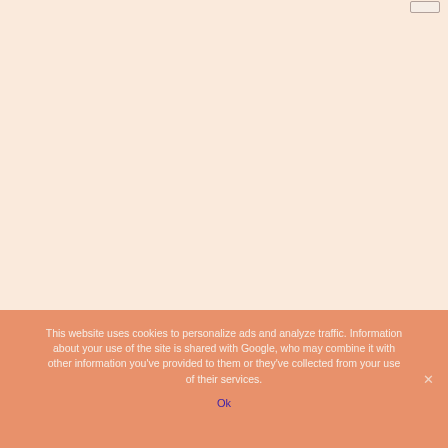[Figure (screenshot): Top portion of a webpage with a warm cream/peach background color (#faeadc). A small button/element is visible in the top-right corner.]
This website uses cookies to personalize ads and analyze traffic. Information about your use of the site is shared with Google, who may combine it with other information you've provided to them or they've collected from your use of their services.
Ok